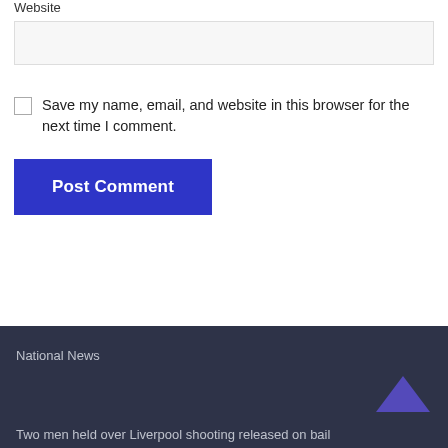Website
Save my name, email, and website in this browser for the next time I comment.
Post Comment
National News
Two men held over Liverpool shooting released on bail